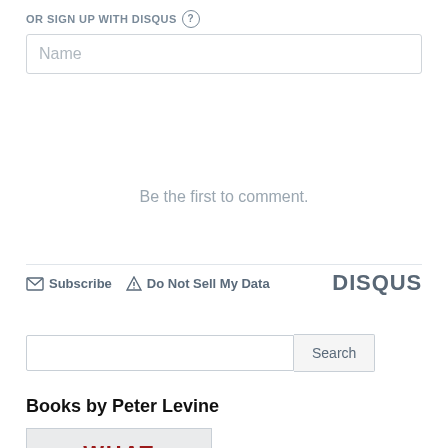OR SIGN UP WITH DISQUS ?
Name
Be the first to comment.
Subscribe  Do Not Sell My Data  DISQUS
Search
Books by Peter Levine
[Figure (illustration): Book cover showing the word WHAT in dark red/maroon bold text on a light gray background with a border]